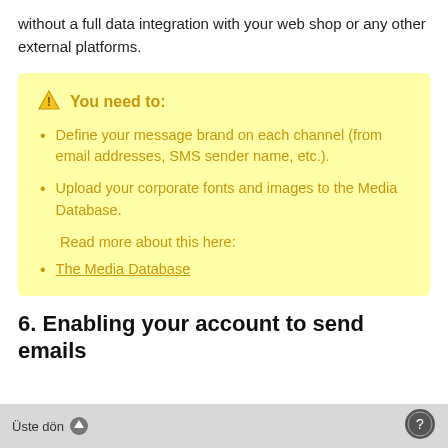without a full data integration with your web shop or any other external platforms.
Define your message brand on each channel (from email addresses, SMS sender name, etc.).
Upload your corporate fonts and images to the Media Database.
Read more about this here:
The Media Database
6.  Enabling your account to send emails
Üste dön